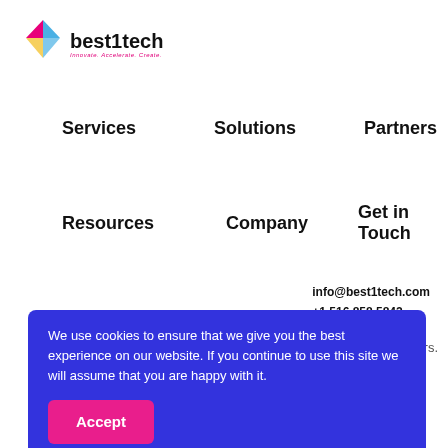[Figure (logo): best1tech logo with geometric kite/arrow shape in blue, pink, and yellow, with tagline 'Innovate. Accelerate. Create.']
Services
Solutions
Partners
Resources
Company
Get in Touch
info@best1tech.com
+1 516 858 5842
We use cookies to ensure that we give you the best experience on our website. If you continue to use this site we will assume that you are happy with it.
Accept
App Life Cycle Management